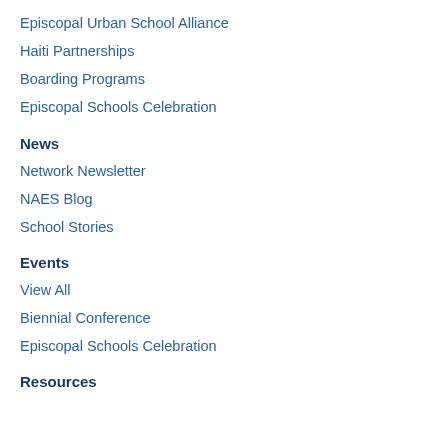Episcopal Urban School Alliance
Haiti Partnerships
Boarding Programs
Episcopal Schools Celebration
News
Network Newsletter
NAES Blog
School Stories
Events
View All
Biennial Conference
Episcopal Schools Celebration
Resources